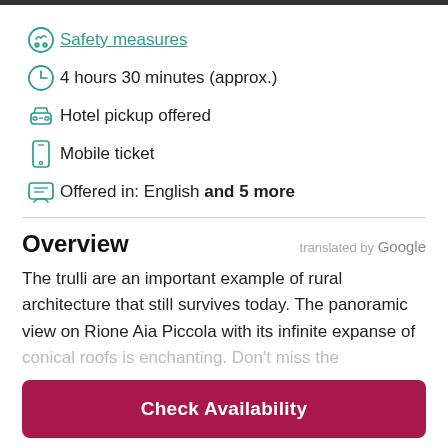Safety measures
4 hours 30 minutes (approx.)
Hotel pickup offered
Mobile ticket
Offered in: English and 5 more
Overview
translated by Google
The trulli are an important example of rural architecture that still survives today. The panoramic view on Rione Aia Piccola with its infinite expanse of conical roofs is enchanting. Don't miss the
Check Availability